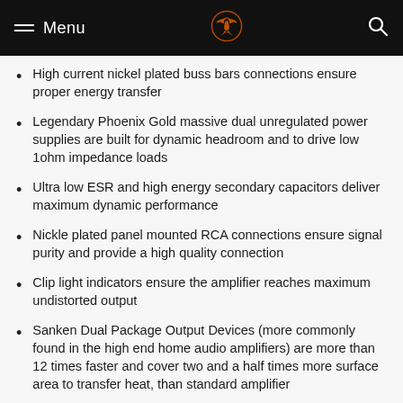Menu
High current nickel plated buss bars connections ensure proper energy transfer
Legendary Phoenix Gold massive dual unregulated power supplies are built for dynamic headroom and to drive low 1ohm impedance loads
Ultra low ESR and high energy secondary capacitors deliver maximum dynamic performance
Nickle plated panel mounted RCA connections ensure signal purity and provide a high quality connection
Clip light indicators ensure the amplifier reaches maximum undistorted output
Sanken Dual Package Output Devices (more commonly found in the high end home audio amplifiers) are more than 12 times faster and cover two and a half times more surface area to transfer heat, than standard amplifier